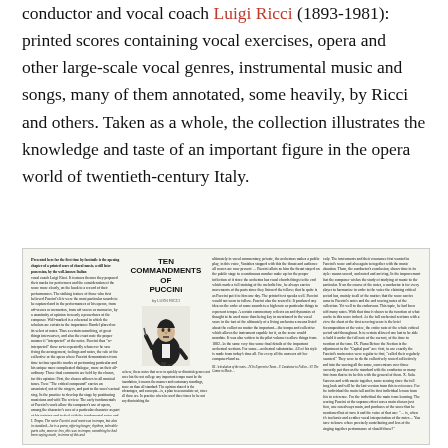conductor and vocal coach Luigi Ricci (1893-1981): printed scores containing vocal exercises, opera and other large-scale vocal genres, instrumental music and songs, many of them annotated, some heavily, by Ricci and others. Taken as a whole, the collection illustrates the knowledge and taste of an important figure in the opera world of twentieth-century Italy.
[Figure (photo): A scanned page from a magazine or book showing an article titled 'TEN COMMANDMENTS OF PUCCINI' with a caricature illustration and multiple columns of dense text.]